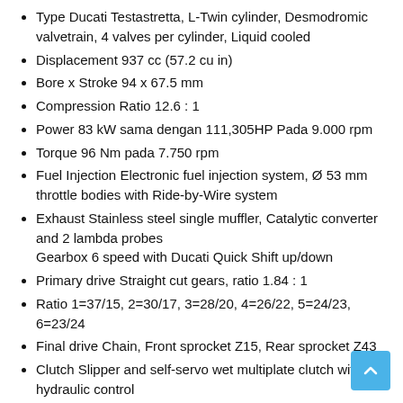Type Ducati Testastretta, L-Twin cylinder, Desmodromic valvetrain, 4 valves per cylinder, Liquid cooled
Displacement 937 cc (57.2 cu in)
Bore x Stroke 94 x 67.5 mm
Compression Ratio 12.6 : 1
Power 83 kW sama dengan 111,305HP Pada 9.000 rpm
Torque 96 Nm pada 7.750 rpm
Fuel Injection Electronic fuel injection system, Ø 53 mm throttle bodies with Ride-by-Wire system
Exhaust Stainless steel single muffler, Catalytic converter and 2 lambda probes
Gearbox 6 speed with Ducati Quick Shift up/down
Primary drive Straight cut gears, ratio 1.84 : 1
Ratio 1=37/15, 2=30/17, 3=28/20, 4=26/22, 5=24/23, 6=23/24
Final drive Chain, Front sprocket Z15, Rear sprocket Z43
Clutch Slipper and self-servo wet multiplate clutch with hydraulic control